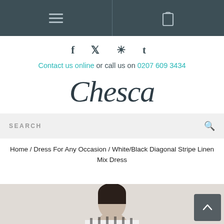Navigation bar with hamburger menu and shopping bag icon
f  ✓  ®  t
Contact us online or call us on 0207 609 3434
Chesca
SEARCH
Home / Dress For Any Occasion / White/Black Diagonal Stripe Linen Mix Dress
[Figure (photo): Bottom portion of page showing model wearing a white/black diagonal stripe dress, cropped to head/shoulders]